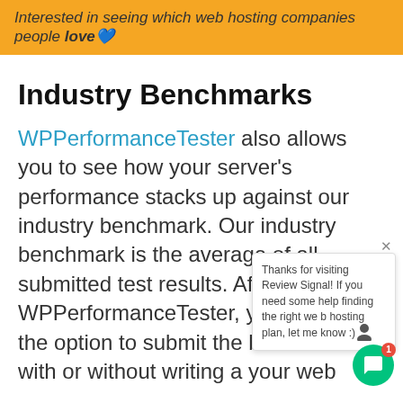Interested in seeing which web hosting companies people love
Industry Benchmarks
WPPerformanceTester also allows you to see how your server's performance stacks up against our industry benchmark. Our industry benchmark is the average of all submitted test results. After you run WPPerformanceTester, you will have the option to submit the benchmark with or without writing a your web host. Please consider submi without a review so that our benchma improves. If you feel inclined to write a review please feel free. They will be published in an
Thanks for visiting Review Signal! If you need some help finding the right web hosting plan, let me know :)